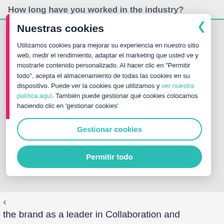How long have you worked in the industry?
Nuestras cookies
Utilizamos cookies para mejorar su experiencia en nuestro sitio web, medir el rendimiento, adaptar el marketing que usted ve y mostrarle contenido personalizado. Al hacer clic en "Permitir todo", acepta el almacenamiento de todas las cookies en su dispositivo. Puede ver la cookies que utilizamos y ver nuestra política aquí. También puede gestionar qué cookies colocamos haciendo clic en 'gestionar cookies'
Gestionar cookies
Permitir todo
the brand as a leader in Collaboration and